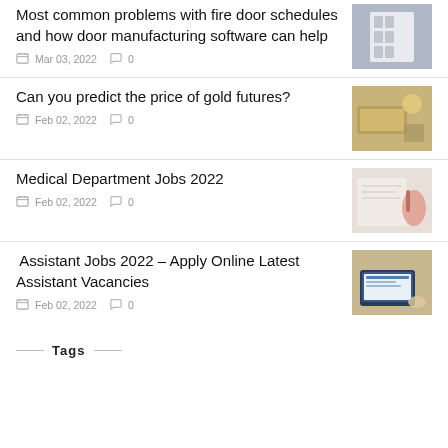Most common problems with fire door schedules and how door manufacturing software can help
Mar 03, 2022  0
Can you predict the price of gold futures?
Feb 02, 2022  0
Medical Department Jobs 2022
Feb 02, 2022  0
Assistant Jobs 2022 – Apply Online Latest Assistant Vacancies
Feb 02, 2022  0
Tags